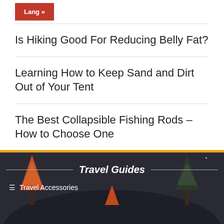Lang »
Is Hiking Good For Reducing Belly Fat?
Learning How to Keep Sand and Dirt Out of Your Tent
The Best Collapsible Fishing Rods – How to Choose One
Travel Guides
Travel Accessories